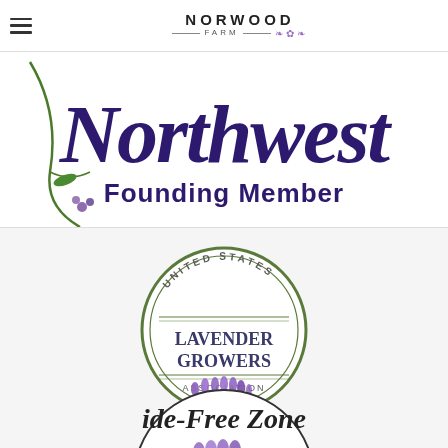[Figure (logo): Norwood Farm logo with hamburger menu icon on left, 'NORWOOD FARM' text with decorative lavender flourish]
[Figure (logo): Northwest Lavender Association Founding Member badge - large cursive 'Northwest' text in dark purple with 'Founding Member' in bold below, decorative green vine and lavender flower]
[Figure (logo): United States Lavender Growers Association circular logo with lavender bouquet illustration]
[Figure (logo): Pesticide-Free Zone circular badge with lavender, partially visible at bottom]